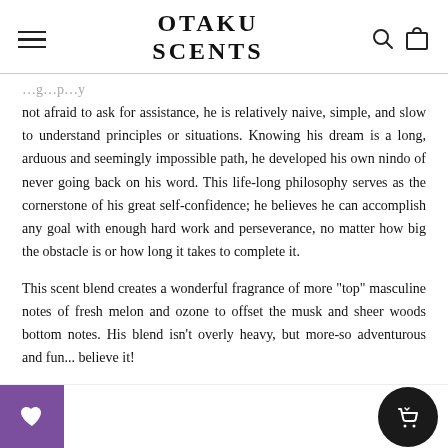OTAKU SCENTS
not afraid to ask for assistance, he is relatively naive, simple, and slow to understand principles or situations. Knowing his dream is a long, arduous and seemingly impossible path, he developed his own nindo of never going back on his word. This life-long philosophy serves as the cornerstone of his great self-confidence; he believes he can accomplish any goal with enough hard work and perseverance, no matter how big the obstacle is or how long it takes to complete it.
This scent blend creates a wonderful fragrance of more "top" masculine notes of fresh melon and ozone to offset the musk and sheer woods bottom notes. His blend isn't overly heavy, but more-so adventurous and fun... believe it!